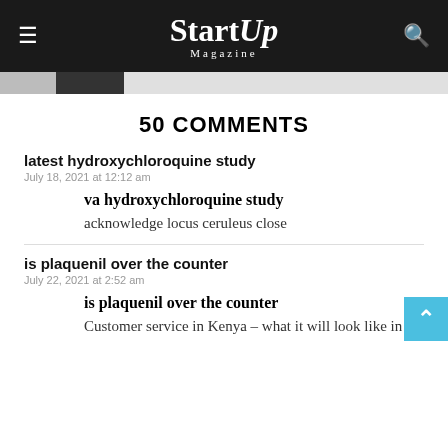StartUp Magazine
50 COMMENTS
latest hydroxychloroquine study
July 18, 2021 at 12:12 am
va hydroxychloroquine study
acknowledge locus ceruleus close
is plaquenil over the counter
July 22, 2021 at 2:52 am
is plaquenil over the counter
Customer service in Kenya – what it will look like in on...